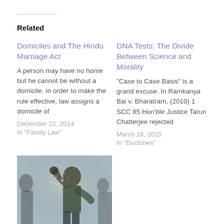Related
Domiciles and The Hindu Marriage Act
A person may have no home but he cannot be without a domicile. In order to make the rule effective, law assigns a domicile of
December 22, 2014
In "Family Law"
DNA Tests: The Divide Between Science and Morality
"Case to Case Basis" is a grand excuse. In Ramkanya Bai v. Bharatram, (2010) 1 SCC 85 Hon'ble Justice Tarun Chatterjee rejected
March 16, 2015
In "Doctrines"
[Figure (photo): A man with raised fist against a textured wall background, used as thumbnail for 'The Case of Three Faces' article]
The Case of Three Faces
June 17, 2022
In "Doctrines"